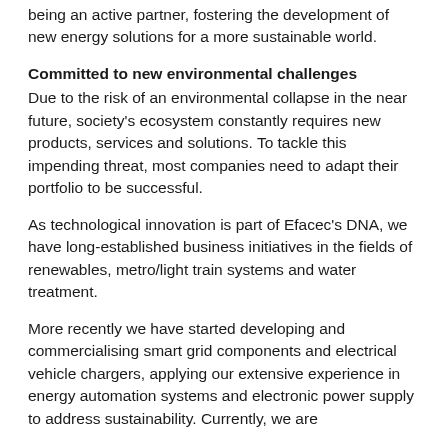being an active partner, fostering the development of new energy solutions for a more sustainable world.
Committed to new environmental challenges
Due to the risk of an environmental collapse in the near future, society's ecosystem constantly requires new products, services and solutions. To tackle this impending threat, most companies need to adapt their portfolio to be successful.
As technological innovation is part of Efacec's DNA, we have long-established business initiatives in the fields of renewables, metro/light train systems and water treatment.
More recently we have started developing and commercialising smart grid components and electrical vehicle chargers, applying our extensive experience in energy automation systems and electronic power supply to address sustainability. Currently, we are